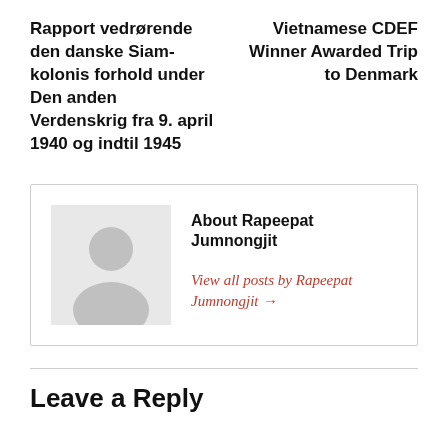Rapport vedrørende den danske Siam-kolonis forhold under Den anden Verdenskrig fra 9. april 1940 og indtil 1945
Vietnamese CDEF Winner Awarded Trip to Denmark
[Figure (illustration): Generic user avatar placeholder: grey background with a silhouette of a person (head and shoulders)]
About Rapeepat Jumnongjit
View all posts by Rapeepat Jumnongjit →
Leave a Reply